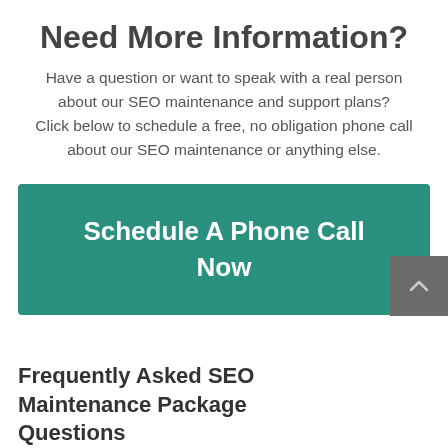Need More Information?
Have a question or want to speak with a real person about our SEO maintenance and support plans?
Click below to schedule a free, no obligation phone call about our SEO maintenance or anything else.
Schedule A Phone Call Now
Frequently Asked SEO Maintenance Package Questions